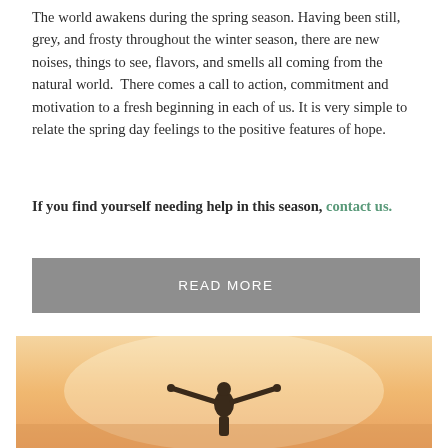The world awakens during the spring season. Having been still, grey, and frosty throughout the winter season, there are new noises, things to see, flavors, and smells all coming from the natural world.  There comes a call to action, commitment and motivation to a fresh beginning in each of us. It is very simple to relate the spring day feelings to the positive features of hope.
If you find yourself needing help in this season, contact us.
READ MORE
[Figure (photo): Person with arms outstretched against a warm sunset/sunrise sky, silhouette viewed from behind, evoking freedom and hope.]